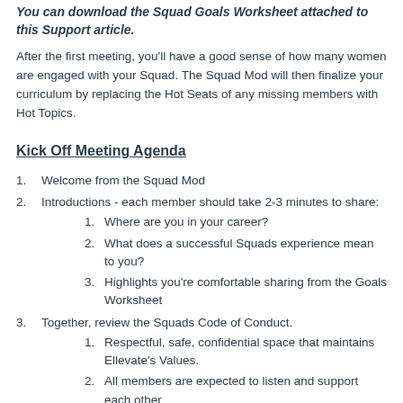You can download the Squad Goals Worksheet attached to this Support article.
After the first meeting, you'll have a good sense of how many women are engaged with your Squad. The Squad Mod will then finalize your curriculum by replacing the Hot Seats of any missing members with Hot Topics.
Kick Off Meeting Agenda
1. Welcome from the Squad Mod
2. Introductions - each member should take 2-3 minutes to share:
1. Where are you in your career?
2. What does a successful Squads experience mean to you?
3. Highlights you're comfortable sharing from the Goals Worksheet
3. Together, review the Squads Code of Conduct.
1. Respectful, safe, confidential space that maintains Ellevate's Values.
2. All members are expected to listen and support each other
3. All members are expected to attend calls; you should miss no more than two meetings